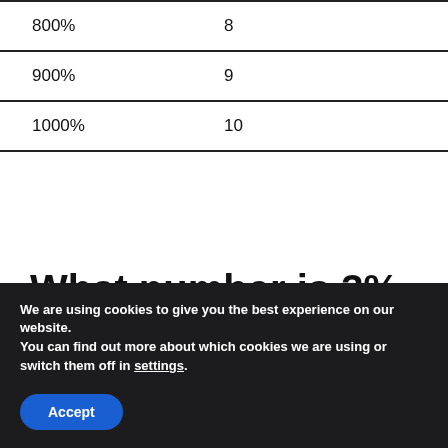| Percentage | Value |
| --- | --- |
| 800% | 8 |
| 900% | 9 |
| 1000% | 10 |
What number is 3% of 700?
We are using cookies to give you the best experience on our website.
You can find out more about which cookies we are using or switch them off in settings.
Accept